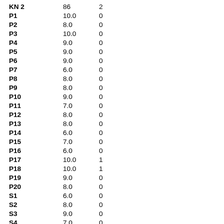|  |  |  |
| --- | --- | --- |
| KN 2 | 86 | 2 |
| P1 | 10.0 | 0 |
| P2 | 8.0 | 0 |
| P3 | 10.0 | 0 |
| P4 | 9.0 | 0 |
| P5 | 9.0 | 0 |
| P6 | 9.0 | 0 |
| P7 | 6.0 | 0 |
| P8 | 8.0 | 0 |
| P9 | 8.0 | 0 |
| P10 | 9.0 | 0 |
| P11 | 7.0 | 0 |
| P12 | 8.0 | 0 |
| P13 | 8.0 | 0 |
| P14 | 6.0 | 0 |
| P15 | 7.0 | 0 |
| P16 | 6.0 | 0 |
| P17 | 10.0 | 1 |
| P18 | 10.0 | 1 |
| P19 | 9.0 | 0 |
| P20 | 8.0 | 0 |
| S1 | 6.0 | 0 |
| S2 | 8.0 | 0 |
| S3 | 9.0 | 0 |
| S4 | 7.0 | 0 |
| S5 | 8.0 | 0 |
| S6 | 8.0 | 0 |